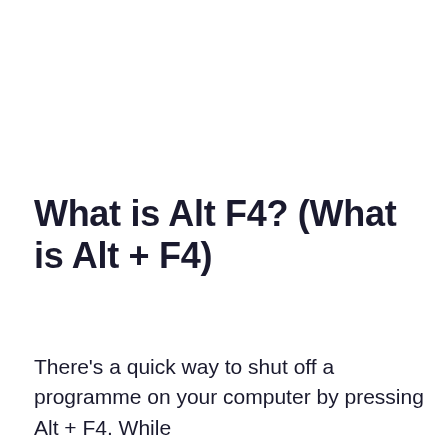What is Alt F4? (What is Alt + F4)
There's a quick way to shut off a programme on your computer by pressing Alt + F4. While